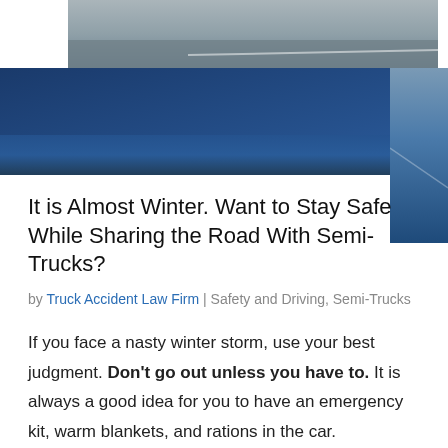[Figure (photo): Photograph of a road/highway in winter conditions, with a dark blue overlay panel on the lower portion of the image]
It is Almost Winter. Want to Stay Safe While Sharing the Road With Semi-Trucks?
by Truck Accident Law Firm | Safety and Driving, Semi-Trucks
If you face a nasty winter storm, use your best judgment. Don't go out unless you have to. It is always a good idea for you to have an emergency kit, warm blankets, and rations in the car.